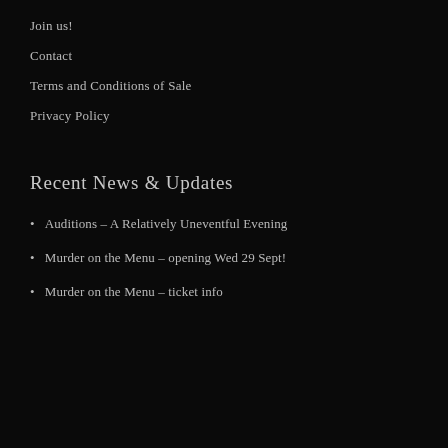Join us!
Contact
Terms and Conditions of Sale
Privacy Policy
Recent News & Updates
Auditions – A Relatively Uneventful Evening
Murder on the Menu – opening Wed 29 Sept!
Murder on the Menu – ticket info